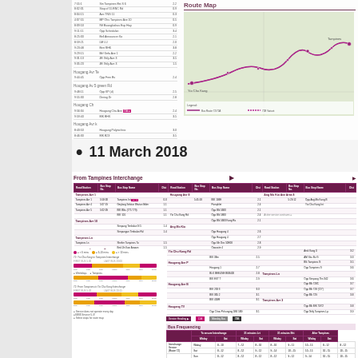[Figure (other): Top portion of SBS Transit Bus 72 pocket guide showing stop listing and route map]
Route Map
11 March 2018
[Figure (infographic): SBS Transit Bus Service 72 Pocket Guide - full page showing bus frequency charts, stop listings from Yio Chu Kang Interchange and bus variants 72A and 72B]
From Yio Chu Kang Interchange
Bus Frequencing
From Tampines Interchange
[Figure (other): Bottom portion showing From Tampines Interchange stop listing table]